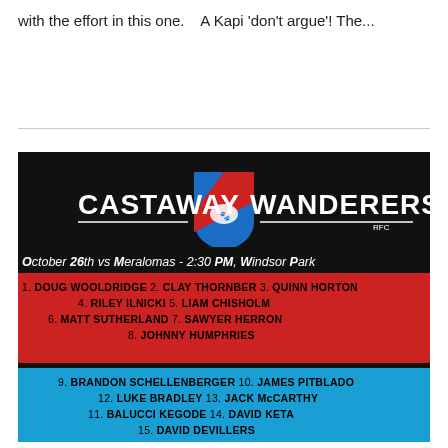with the effort in this one.   A Kapi 'don't argue'! The...
[Figure (other): Castaway Wanderers RFC team sheet. Black background with club crest (blue and red shield). Text: CASTAWAY WANDERERS RFC. October 26th vs Meralomas - 2:30 PM, Windsor Park. Player list in red band: 1. Doug Wooldridge, 2. Clay Thornber, 3. Quinn Horton, 4. Riley Ilnicki, 5. Liam Chisholm, 6. Matt Sutherland, 7. Sawyer Herron, 8. Johnny Humphries. Player list in blue band: 9. Brandon Schellenberger, 10. James Pitblado, 12. Luke Bradley, 13. Jack McCarthy, 11. Balucci Kegode, 14. David Keta, 15. David Devillers. Bottom black band partially visible with player names.]